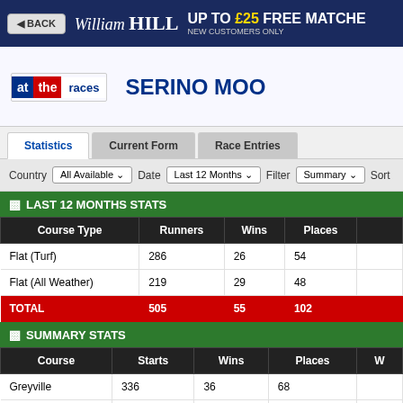[Figure (screenshot): William Hill banner with back button, logo, and UP TO £25 FREE MATCHED BET offer]
[Figure (logo): at the races logo (blue, red, white)]
SERINO MOO
Statistics | Current Form | Race Entries (tabs)
Country All Available   Date Last 12 Months   Filter Summary   Sort
LAST 12 MONTHS STATS
| Course Type | Runners | Wins | Places |
| --- | --- | --- | --- |
| Flat (Turf) | 286 | 26 | 54 |
| Flat (All Weather) | 219 | 29 | 48 |
| TOTAL | 505 | 55 | 102 |
SUMMARY STATS
| Course | Starts | Wins | Places | W |
| --- | --- | --- | --- | --- |
| Greyville | 336 | 36 | 68 |  |
| Scottsville | 161 | 10 | 24 |  |